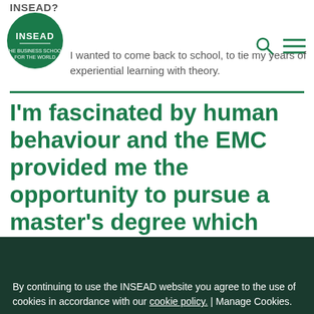INSEAD?
I wanted to come back to school, to tie my years of experiential learning with theory.
I'm fascinated by human behaviour and the EMC provided me the opportunity to pursue a master's degree which integrates both business and psychology.
By continuing to use the INSEAD website you agree to the use of cookies in accordance with our cookie policy. | Manage Cookies.